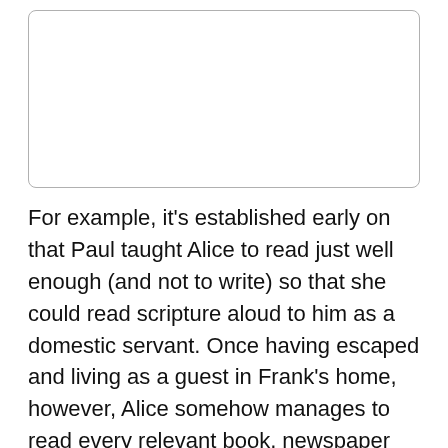[Figure (other): Empty white rectangle with rounded corners and light gray border — placeholder image area]
For example, it's established early on that Paul taught Alice to read just well enough (and not to write) so that she could read scripture aloud to him as a domestic servant. Once having escaped and living as a guest in Frank's home, however, Alice somehow manages to read every relevant book, newspaper clipping, encyclopedia and